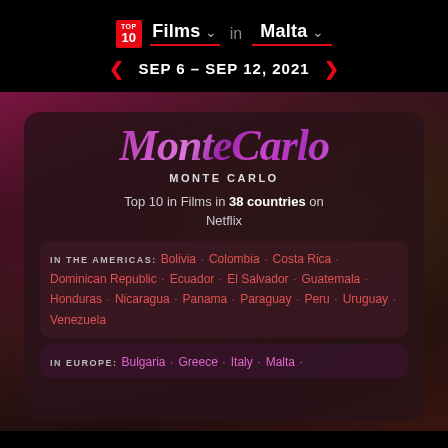TOP 10 Films in Malta — SEP 6 - SEP 12, 2021
[Figure (screenshot): Netflix Top 10 page showing Monte Carlo film card with country list]
MonteCarlo
MONTE CARLO
Top 10 in Films in 38 countries on Netflix
IN THE AMERICAS: Bolivia · Colombia · Costa Rica · Dominican Republic · Ecuador · El Salvador · Guatemala · Honduras · Nicaragua · Panama · Paraguay · Peru · Uruguay · Venezuela
IN EUROPE: Bulgaria · Greece · Italy · Malta ·